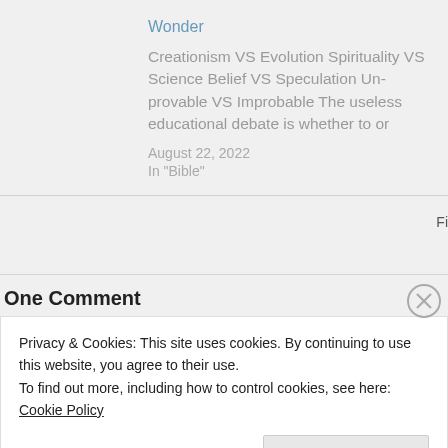Wonder
Creationism VS Evolution Spirituality VS Science Belief VS Speculation Un-provable VS Improbable The useless educational debate is whether to or
August 22, 2022
In "Bible"
Fi
One Comment
Privacy & Cookies: This site uses cookies. By continuing to use this website, you agree to their use.
To find out more, including how to control cookies, see here: Cookie Policy
Close and accept